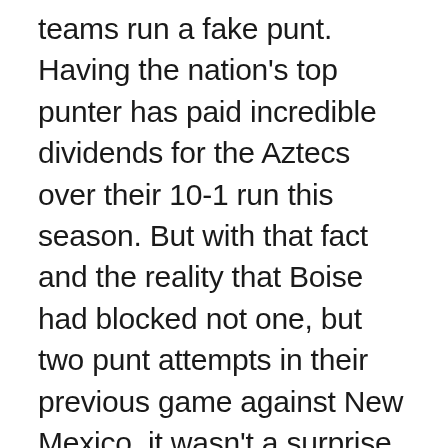teams run a fake punt. Having the nation's top punter has paid incredible dividends for the Aztecs over their 10-1 run this season. But with that fact and the reality that Boise had blocked not one, but two punt attempts in their previous game against New Mexico, it wasn't a surprise to us here that a fake punt would be in the arsenal of possibilities. The down and distance however was a shock. The fake ran almost perfect except for one Boise defender making a huge tackle that would've saved a long gain and the first down yardage. Instead it was a turnover on downs and a chance for Boise to really go up big in the first half.